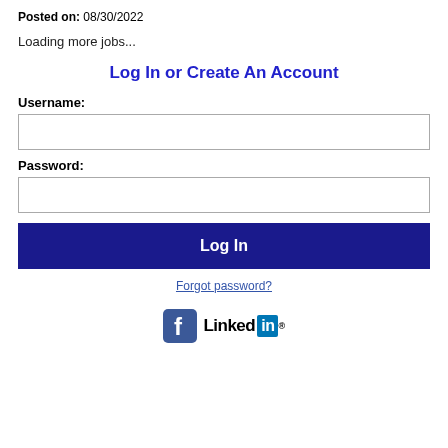Posted on: 08/30/2022
Loading more jobs...
Log In or Create An Account
Username:
Password:
Log In
Forgot password?
[Figure (logo): Facebook and LinkedIn social login icons]